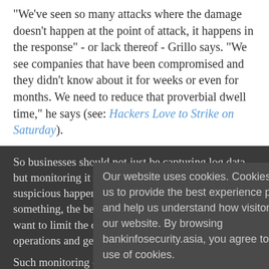"We've seen so many attacks where the damage doesn't happen at the point of attack, it happens in the response" - or lack thereof - Grillo says. "We see companies that have been compromised and they didn't know about it for weeks or even for months. We need to reduce that proverbial dwell time," he says (see: Hackers Love to Strike on Saturday).
So businesses should not just be capturing log data, but monitoring it to immediately detect unusual or suspicious happenings. "The sooner we see something, the better our response," he says. "We want to limit the damage to our business and normal operations and get things back to normal."
Such monitoring can, from a technology standpoint, take many different forms, including intrusion detection systems as well as intrusion prevention systems.
Our website uses cookies. Cookies enable us to provide the best experience possible and help us understand how visitors use our website. By browsing bankinfosecurity.asia, you agree to our use of cookies.